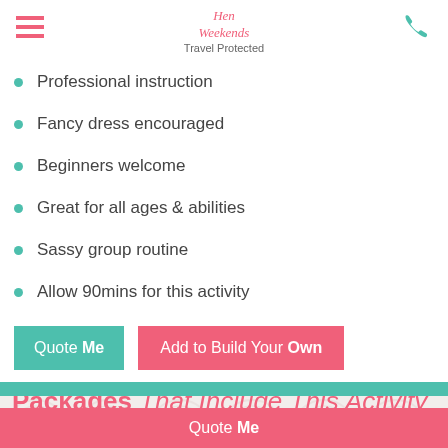Hen Weekends | Travel Protected
Professional instruction
Fancy dress encouraged
Beginners welcome
Great for all ages & abilities
Sassy group routine
Allow 90mins for this activity
Quote Me | Add to Build Your Own
Packages That Include This Activity
Quote Me